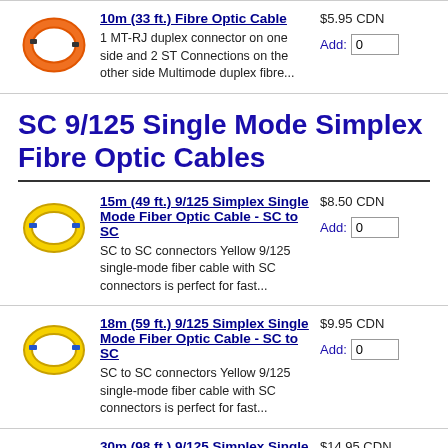[Figure (photo): Orange fibre optic cable coil]
10m (33 ft.) Fibre Optic Cable
1 MT-RJ duplex connector on one side and 2 ST Connections on the other side Multimode duplex fibre...
$5.95 CDN
Add: 0
SC 9/125 Single Mode Simplex Fibre Optic Cables
[Figure (photo): Yellow fibre optic cable coil]
15m (49 ft.) 9/125 Simplex Single Mode Fiber Optic Cable - SC to SC
SC to SC connectors Yellow 9/125 single-mode fiber cable with SC connectors is perfect for fast...
$8.50 CDN
Add: 0
[Figure (photo): Yellow fibre optic cable coil]
18m (59 ft.) 9/125 Simplex Single Mode Fiber Optic Cable - SC to SC
SC to SC connectors Yellow 9/125 single-mode fiber cable with SC connectors is perfect for fast...
$9.95 CDN
Add: 0
[Figure (photo): Yellow fibre optic cable coil (partial)]
30m (98 ft.) 9/125 Simplex Single
$14.95 CDN